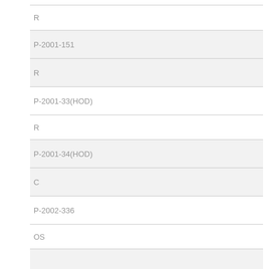R
P-2001-151
R
P-2001-33(HOD)
R
P-2001-34(HOD)
C
P-2002-336
OS